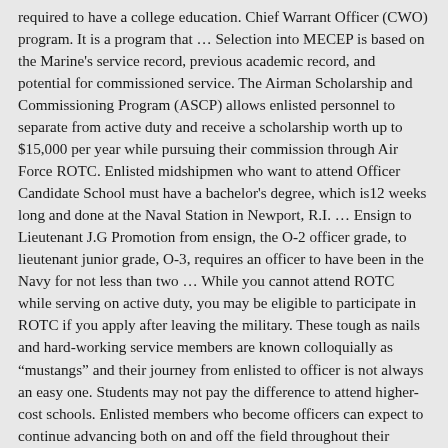required to have a college education. Chief Warrant Officer (CWO) program. It is a program that ... Selection into MECEP is based on the Marine's service record, previous academic record, and potential for commissioned service. The Airman Scholarship and Commissioning Program (ASCP) allows enlisted personnel to separate from active duty and receive a scholarship worth up to $15,000 per year while pursuing their commission through Air Force ROTC. Enlisted midshipmen who want to attend Officer Candidate School must have a bachelor's degree, which is12 weeks long and done at the Naval Station in Newport, R.I. ... Ensign to Lieutenant J.G Promotion from ensign, the O-2 officer grade, to lieutenant junior grade, O-3, requires an officer to have been in the Navy for not less than two ... While you cannot attend ROTC while serving on active duty, you may be eligible to participate in ROTC if you apply after leaving the military. These tough as nails and hard-working service members are known colloquially as “mustangs” and their journey from enlisted to officer is not always an easy one. Students may not pay the difference to attend higher-cost schools. Enlisted members who become officers can expect to continue advancing both on and off the field throughout their military careers. A Navy officer must be able to assume a variety of duties at sea, in the air and ashore. On graduation, you will commission as a Naval